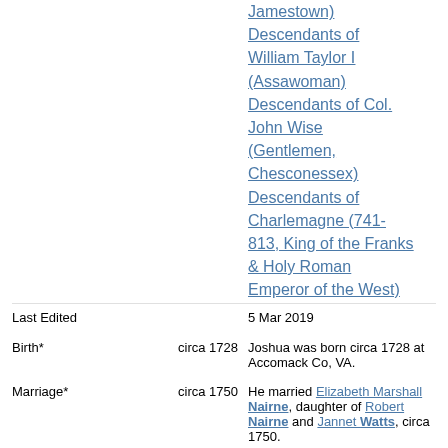Descendants of William Taylor I (Assawoman) Descendants of Col. John Wise (Gentlemen, Chesconessex) Descendants of Charlemagne (741-813, King of the Franks & Holy Roman Emperor of the West)
Last Edited  5 Mar 2019
Birth*  circa 1728  Joshua was born circa 1728 at Accomack Co, VA.
Marriage*  circa 1750  He married Elizabeth Marshall Nairne, daughter of Robert Nairne and Jannet Watts, circa 1750.
Will - Extr*  25 April 1756  Joshua was named as the executor of a will.